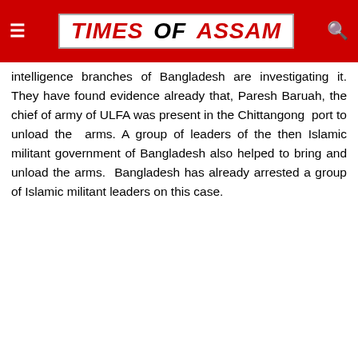TIMES OF ASSAM
intelligence branches of Bangladesh are investigating it. They have found evidence already that, Paresh Baruah, the chief of army of ULFA was present in the Chittangong port to unload the arms. A group of leaders of the then Islamic militant government of Bangladesh also helped to bring and unload the arms. Bangladesh has already arrested a group of Islamic militant leaders on this case.